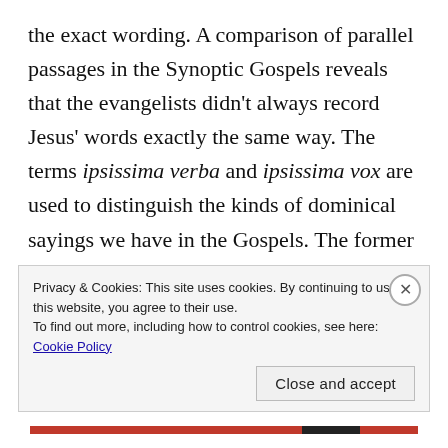the exact wording. A comparison of parallel passages in the Synoptic Gospels reveals that the evangelists didn't always record Jesus' words exactly the same way. The terms ipsissima verba and ipsissima vox are used to distinguish the kinds of dominical sayings we have in the Gospels. The former means 'the very words,' and the latter means 'the very voice.' That is, the exact words or the essential thought. There have been attempts to harmonize these accounts, but they are highly motivated by a theological agenda which clouds
Privacy & Cookies: This site uses cookies. By continuing to use this website, you agree to their use. To find out more, including how to control cookies, see here: Cookie Policy
Close and accept